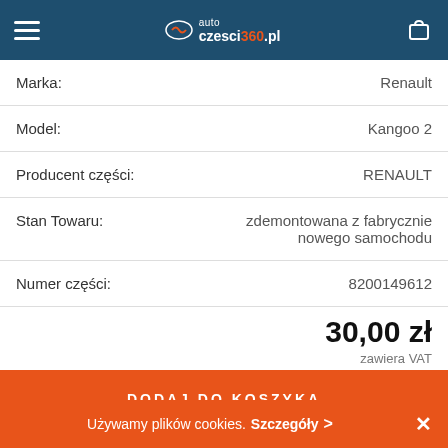autoczesci360.pl
| Pole | Wartość |
| --- | --- |
| Marka: | Renault |
| Model: | Kangoo 2 |
| Producent części: | RENAULT |
| Stan Towaru: | zdemontowana z fabrycznie nowego samochodu |
| Numer części: | 8200149612 |
30,00 zł
zawiera VAT
DODAJ DO KOSZYKA
Dodaj do listy życzeń
Używamy plików cookies. Szczegóły >